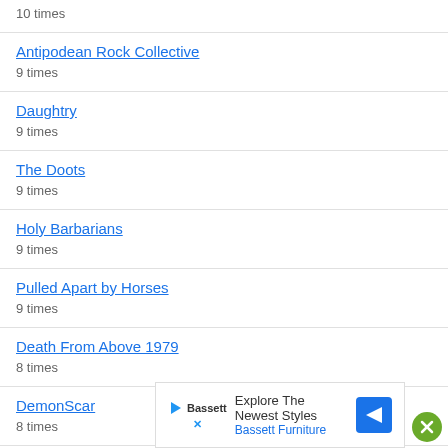10 times
Antipodean Rock Collective
9 times
Daughtry
9 times
The Doots
9 times
Holy Barbarians
9 times
Pulled Apart by Horses
9 times
Death From Above 1979
8 times
DemonScar
8 times
Electric Mary
8 times
Kane
8 times
Explore The Newest Styles
Bassett Furniture